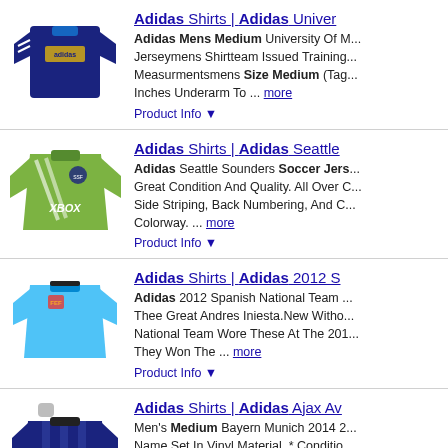[Figure (photo): Navy blue Adidas training jersey with white stripes]
Adidas Shirts | Adidas Univer...
Adidas Mens Medium University Of M... Jerseymens Shirtteam Issued Training... Measurmentsmens Size Medium (Tag... Inches Underarm To ... more
Product Info ▼
[Figure (photo): Green Adidas Seattle Sounders XBOX soccer jersey]
Adidas Shirts | Adidas Seattle...
Adidas Seattle Sounders Soccer Jers... Great Condition And Quality. All Over C... Side Striping, Back Numbering, And C... Colorway. ... more
Product Info ▼
[Figure (photo): Light blue Adidas 2012 Spanish National Team jersey]
Adidas Shirts | Adidas 2012 S...
Adidas 2012 Spanish National Team ... Thee Great Andres Iniesta.New Witho... National Team Wore These At The 201... They Won The ... more
Product Info ▼
[Figure (photo): Dark blue striped Adidas Ajax Away jersey with Ziggo sponsor]
Adidas Shirts | Adidas Ajax Av...
Men's Medium Bayern Munich 2014 2... Name Set In Vinyl Material. * Conditio... Shipping Program Available* Genuinec... Generic (If ... more
Product Info ▼